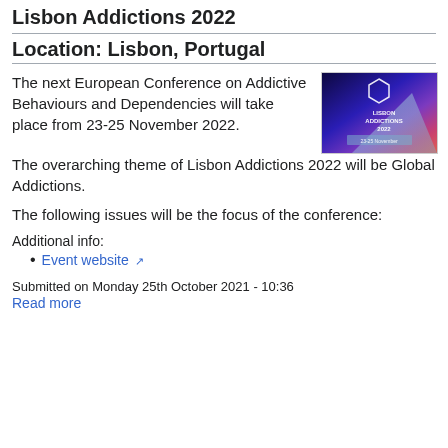Lisbon Addictions 2022
Location: Lisbon, Portugal
The next European Conference on Addictive Behaviours and Dependencies will take place from 23-25 November 2022.
[Figure (photo): Lisbon Addictions 2022 conference promotional image with blue/purple lighting showing text 'LISBON ADDICTIONS 2022' and '23-25 November']
The overarching theme of Lisbon Addictions 2022 will be Global Addictions.
The following issues will be the focus of the conference:
Additional info:
Event website
Submitted on Monday 25th October 2021 - 10:36
Read more